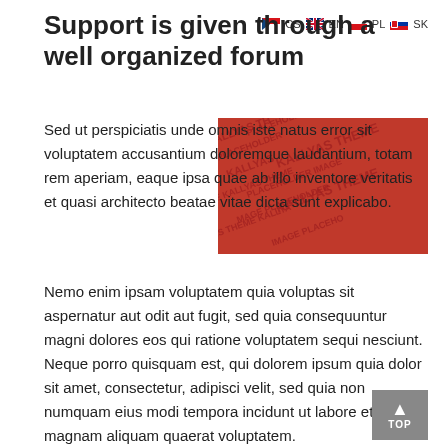Support is given through a well organized forum
Sed ut perspiciatis unde omnis iste natus error sit voluptatem accusantium doloremque laudantium, totam rem aperiam, eaque ipsa quae ab illo inventore veritatis et quasi architecto beatae vitae dicta sunt explicabo.
[Figure (photo): Red placeholder image with repeated text 'KALLYAS THEME PLACEHOLDER IMAGE' in dark red on red background]
Nemo enim ipsam voluptatem quia voluptas sit aspernatur aut odit aut fugit, sed quia consequuntur magni dolores eos qui ratione voluptatem sequi nesciunt. Neque porro quisquam est, qui dolorem ipsum quia dolor sit amet, consectetur, adipisci velit, sed quia non numquam eius modi tempora incidunt ut labore et dolore magnam aliquam quaerat voluptatem.